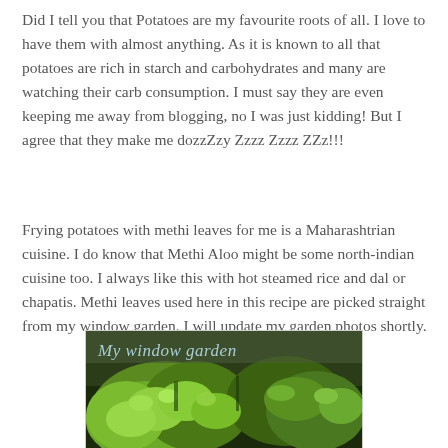Did I tell you that Potatoes are my favourite roots of all. I love to have them with almost anything. As it is known to all that potatoes are rich in starch and carbohydrates and many are watching their carb consumption. I must say they are even keeping me away from blogging, no I was just kidding! But I agree that they make me dozzZzy Zzzz Zzzz ZZz!!!
Frying potatoes with methi leaves for me is a Maharashtrian cuisine. I do know that Methi Aloo might be some north-indian cuisine too. I always like this with hot steamed rice and dal or chapatis. Methi leaves used here in this recipe are picked straight from my window garden. I will update my garden photos shortly.
[Figure (photo): Photo of a window garden with green leafy plants, labeled 'My window garden' in cursive text overlay]